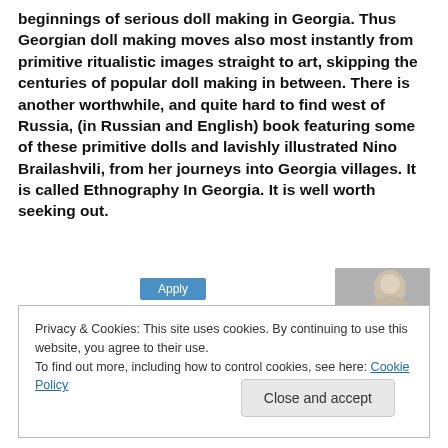beginnings of serious doll making in Georgia. Thus Georgian doll making moves also most instantly from primitive ritualistic images straight to art, skipping the centuries of popular doll making in between. There is another worthwhile, and quite hard to find west of Russia, (in Russian and English) book featuring some of these primitive dolls and lavishly illustrated Nino Brailashvili, from her journeys into Georgia villages. It is called Ethnography In Georgia. It is well worth seeking out.
[Figure (photo): Partial view of a person or doll, partially obscured, thumbnail image in upper right of lower section]
Privacy & Cookies: This site uses cookies. By continuing to use this website, you agree to their use.
To find out more, including how to control cookies, see here: Cookie Policy